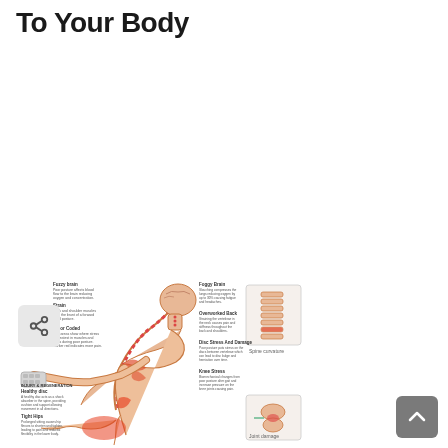To Your Body
[Figure (infographic): Medical infographic showing a person hunched over a keyboard with anatomical labels indicating the effects of poor posture on the body. The illustration shows a side-view of a person slumping forward at a desk, with color highlights (red/orange) on stressed muscles and joints. Labels point to areas including brain, neck, shoulder, spine vertebrae, lower back, and leg. Inset diagrams show close-up views of spine curvature and a joint. Text annotations describe health effects such as fuzzy brain, strained neck, slouched back, disc damage, and tight hips.]